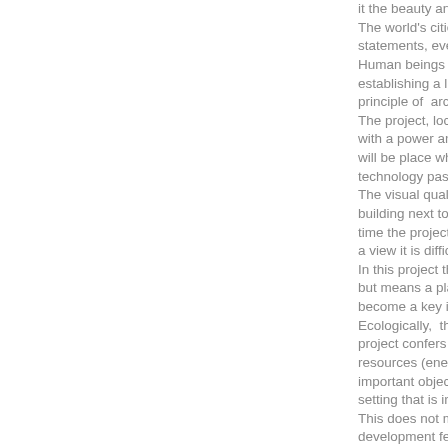it the beauty and the sea of time. The world's cities are frantically statements, events and programs. Human beings have always tried establishing a link between the principle of architectural measures. The project, located at the edge with a power an a unique beauty will be place where people can technology past and future. The visual quality of the design building next to the sea and one time the project is positionated to a view it is difficult to obtain at p. In this project the skyscraper is a but means a place where things become a key in the collective m. Ecologically, through widespread project confers a maximum deg resources (energy and water) a important objective is the balan setting that is innovative. This does not means constructi development fertile ground for t trasformation processes. Dna is inspired by the new co twentyfirst century: more comp